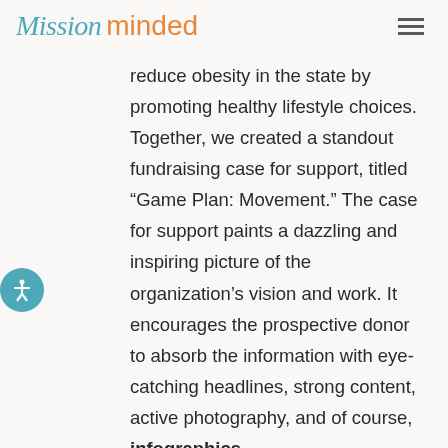Mission minded
reduce obesity in the state by promoting healthy lifestyle choices. Together, we created a standout fundraising case for support, titled “Game Plan: Movement.” The case for support paints a dazzling and inspiring picture of the organization’s vision and work. It encourages the prospective donor to absorb the information with eye-catching headlines, strong content, active photography, and of course, infographics.
Take a look at this spread. The donor is drawn to the bold header, the image of goofy